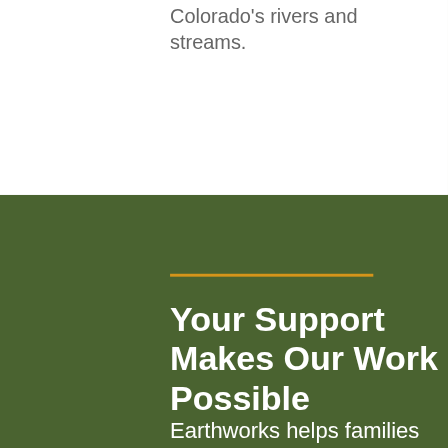Colorado's rivers and streams.
Your Support Makes Our Work Possible
Earthworks helps families on the front lines of mining, drilling, and fracking. We use sound science to expose health, environmental, economic,